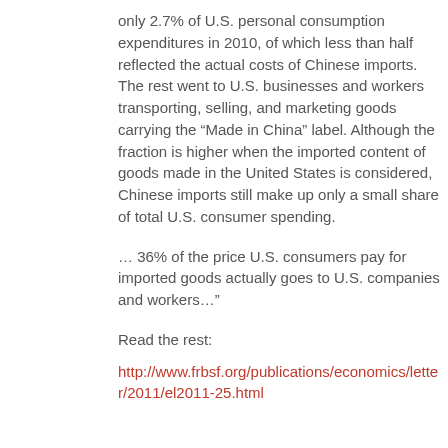only 2.7% of U.S. personal consumption expenditures in 2010, of which less than half reflected the actual costs of Chinese imports. The rest went to U.S. businesses and workers transporting, selling, and marketing goods carrying the “Made in China” label. Although the fraction is higher when the imported content of goods made in the United States is considered, Chinese imports still make up only a small share of total U.S. consumer spending.
… 36% of the price U.S. consumers pay for imported goods actually goes to U.S. companies and workers…”
Read the rest:
http://www.frbsf.org/publications/economics/letter/2011/el2011-25.html